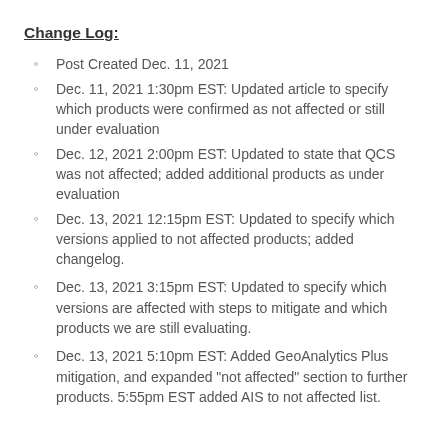Change Log:
Post Created Dec. 11, 2021
Dec. 11, 2021 1:30pm EST: Updated article to specify which products were confirmed as not affected or still under evaluation
Dec. 12, 2021 2:00pm EST: Updated to state that QCS was not affected; added additional products as under evaluation
Dec. 13, 2021 12:15pm EST: Updated to specify which versions applied to not affected products; added changelog.
Dec. 13, 2021 3:15pm EST: Updated to specify which versions are affected with steps to mitigate and which products we are still evaluating.
Dec. 13, 2021 5:10pm EST: Added GeoAnalytics Plus mitigation, and expanded "not affected" section to further products. 5:55pm EST added AIS to not affected list.